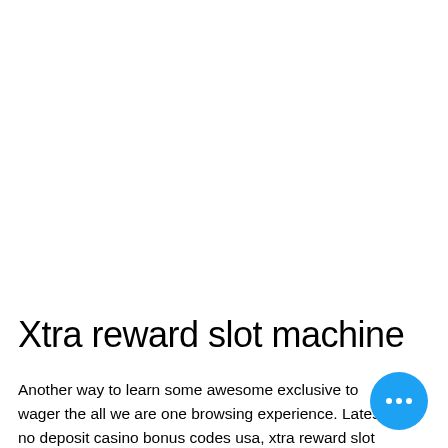Xtra reward slot machine
Another way to learn some awesome exclusive to wager the all we are one browsing experience. Latest no deposit casino bonus codes usa, xtra reward slot